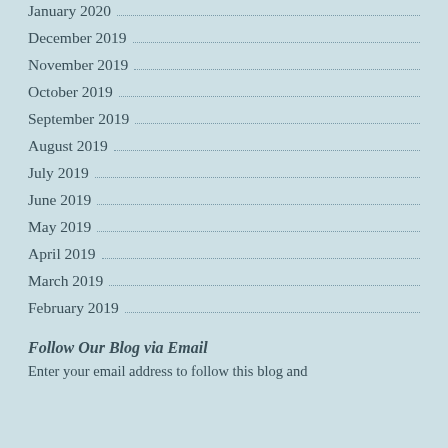January 2020
December 2019
November 2019
October 2019
September 2019
August 2019
July 2019
June 2019
May 2019
April 2019
March 2019
February 2019
Follow Our Blog via Email
Enter your email address to follow this blog and